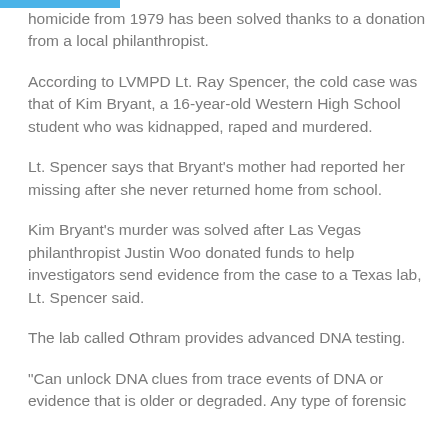homicide from 1979 has been solved thanks to a donation from a local philanthropist.
According to LVMPD Lt. Ray Spencer, the cold case was that of Kim Bryant, a 16-year-old Western High School student who was kidnapped, raped and murdered.
Lt. Spencer says that Bryant's mother had reported her missing after she never returned home from school.
Kim Bryant's murder was solved after Las Vegas philanthropist Justin Woo donated funds to help investigators send evidence from the case to a Texas lab, Lt. Spencer said.
The lab called Othram provides advanced DNA testing.
"Can unlock DNA clues from trace events of DNA or evidence that is older or degraded. Any type of forensic